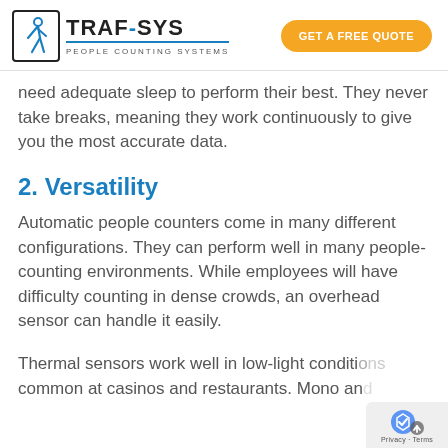TRAF-SYS PEOPLE COUNTING SYSTEMS | GET A FREE QUOTE
need adequate sleep to perform their best. They never take breaks, meaning they work continuously to give you the most accurate data.
2. Versatility
Automatic people counters come in many different configurations. They can perform well in many people-counting environments. While employees will have difficulty counting in dense crowds, an overhead sensor can handle it easily.
Thermal sensors work well in low-light conditi… common at casinos and restaurants. Mono an… stereo sensors offer excellent performance in…